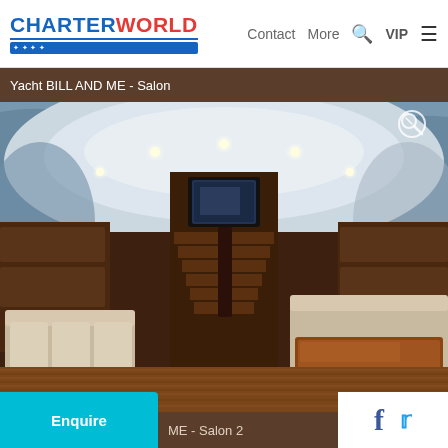CHARTERWORLD — Contact  More  VIP
Yacht BILL AND ME - Salon
[Figure (photo): Interior salon of yacht BILL AND ME showing curved white ceiling with recessed lighting, wooden staircase leading to upper deck with mounted TV screen, cream leather seating areas, wooden dining table, and teak deck flooring.]
Enquire
ME - Salon 2